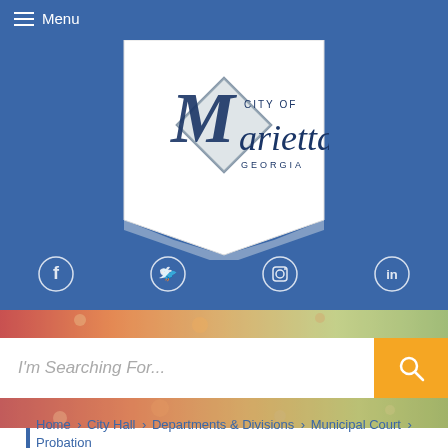Menu
[Figure (logo): City of Marietta, Georgia official logo on white banner/pennant background]
[Figure (infographic): Social media icons row: Facebook, Twitter, Instagram, LinkedIn — circular outlines on blue background]
[Figure (photo): Autumn foliage photo strip, red and golden leaves]
I'm Searching For...
[Figure (photo): Autumn foliage photo strip, bottom]
Home › City Hall › Departments & Divisions › Municipal Court › Probation